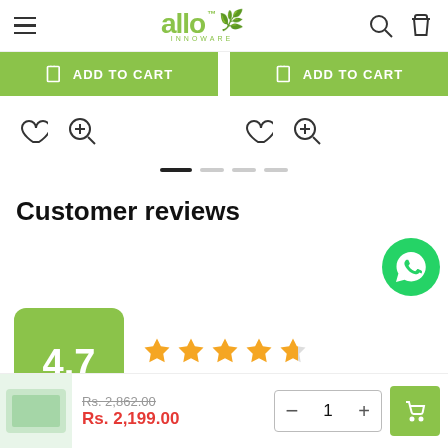allo INNOWARE
ADD TO CART | ADD TO CART
Customer reviews
[Figure (other): Rating box showing 4.7 with 4.5 stars, Based on 34 Reviews]
Rs. 2,862.00
Rs. 2,199.00